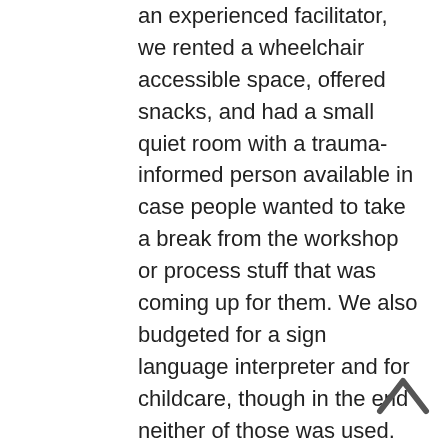an experienced facilitator, we rented a wheelchair accessible space, offered snacks, and had a small quiet room with a trauma-informed person available in case people wanted to take a break from the workshop or process stuff that was coming up for them. We also budgeted for a sign language interpreter and for childcare, though in the end neither of those was used.
Nine groups sent one or two representatives, and we had a three-hour session. Our aim was to offer some skills and resources that folks could take back to their organizations, not to have them craft a plan in the workshop itself. Feedback on the